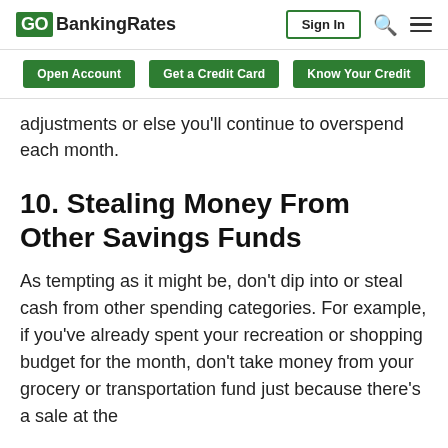GOBankingRates | Sign In
Open Account | Get a Credit Card | Know Your Credit
adjustments or else you'll continue to overspend each month.
10. Stealing Money From Other Savings Funds
As tempting as it might be, don't dip into or steal cash from other spending categories. For example, if you've already spent your recreation or shopping budget for the month, don't take money from your grocery or transportation fund just because there's a sale at the